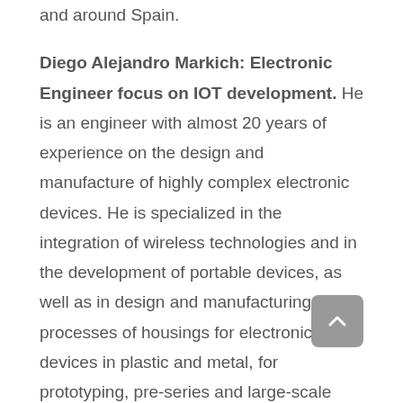and around Spain.
Diego Alejandro Markich: Electronic Engineer focus on IOT development. He is an engineer with almost 20 years of experience on the design and manufacture of highly complex electronic devices. He is specialized in the integration of wireless technologies and in the development of portable devices, as well as in design and manufacturing processes of housings for electronic devices in plastic and metal, for prototyping, pre-series and large-scale productions. Specialties: Firmware development for embedded systems. High complexity hardware design. Development of networks and communication systems and IoT.